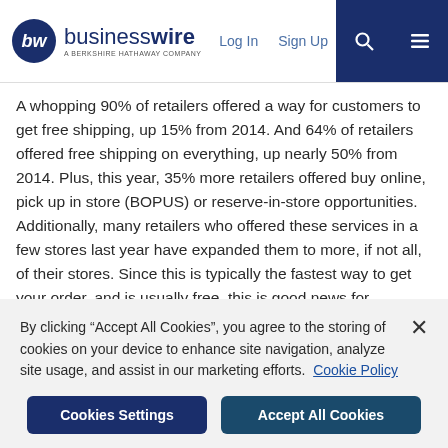businesswire — A BERKSHIRE HATHAWAY COMPANY | Log In | Sign Up
A whopping 90% of retailers offered a way for customers to get free shipping, up 15% from 2014. And 64% of retailers offered free shipping on everything, up nearly 50% from 2014. Plus, this year, 35% more retailers offered buy online, pick up in store (BOPUS) or reserve-in-store opportunities. Additionally, many retailers who offered these services in a few stores last year have expanded them to more, if not all, of their stores. Since this is typically the fastest way to get your order, and is usually free, this is good news for consumers.
BOPUS Blues
By clicking “Accept All Cookies”, you agree to the storing of cookies on your device to enhance site navigation, analyze site usage, and assist in our marketing efforts. Cookie Policy
Cookies Settings | Accept All Cookies